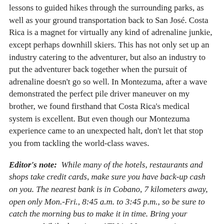lessons to guided hikes through the surrounding parks, as well as your ground transportation back to San José. Costa Rica is a magnet for virtually any kind of adrenaline junkie, except perhaps downhill skiers. This has not only set up an industry catering to the adventurer, but also an industry to put the adventurer back together when the pursuit of adrenaline doesn't go so well. In Montezuma, after a wave demonstrated the perfect pile driver maneuver on my brother, we found firsthand that Costa Rica's medical system is excellent. But even though our Montezuma experience came to an unexpected halt, don't let that stop you from tackling the world-class waves.
Editor's note: While many of the hotels, restaurants and shops take credit cards, make sure you have back-up cash on you. The nearest bank is in Cobano, 7 kilometers away, open only Mon.-Fri., 8:45 a.m. to 3:45 p.m., so be sure to catch the morning bus to make it in time. Bring your passport. While there is an ATM in Montezuma, it sometimes runs out of money, as it did during my stay there.
So Many Places, So Little Time